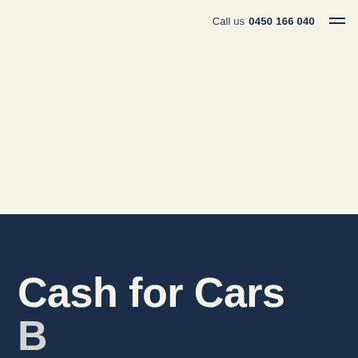Call us 0450 166 040
Cash for Cars